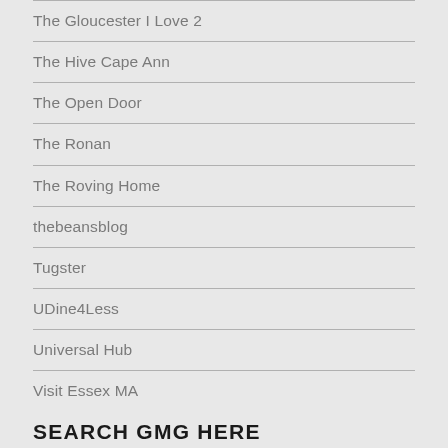The Gloucester I Love 2
The Hive Cape Ann
The Open Door
The Ronan
The Roving Home
thebeansblog
Tugster
UDine4Less
Universal Hub
Visit Essex MA
SEARCH GMG HERE